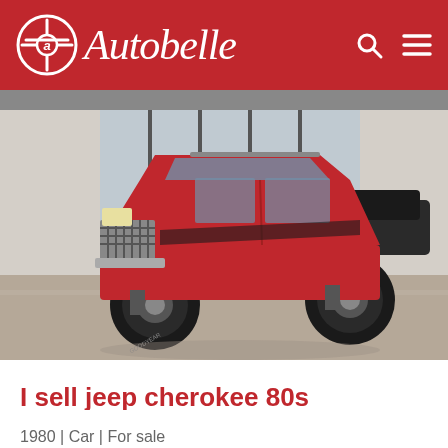Autobelle
[Figure (photo): Red 1980 Jeep Cherokee two-door SUV with lifted suspension and large off-road tires, photographed inside a car dealership showroom with large windows.]
I sell jeep cherokee 80s
1980 | Car | For sale